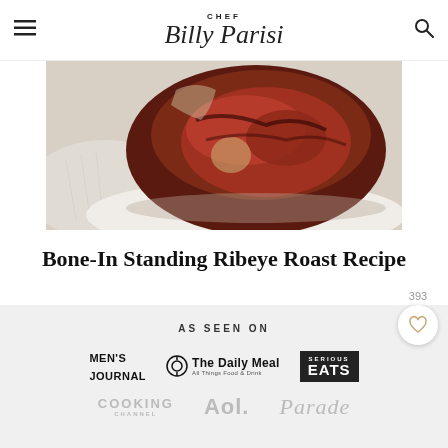CHEF Billy Parisi
[Figure (photo): Close-up photo of a bone-in standing ribeye roast on a white plate with linen napkin]
Bone-In Standing Ribeye Roast Recipe
AS SEEN ON
[Figure (logo): MEN'S JOURNAL logo]
[Figure (logo): The Daily Meal - All Things Food & Drink logo with fork/plate icon]
[Figure (logo): Serious Eats logo]
[Figure (logo): Cooking Channel logo]
[Figure (logo): Aol. logo]
[Figure (logo): Parade logo]